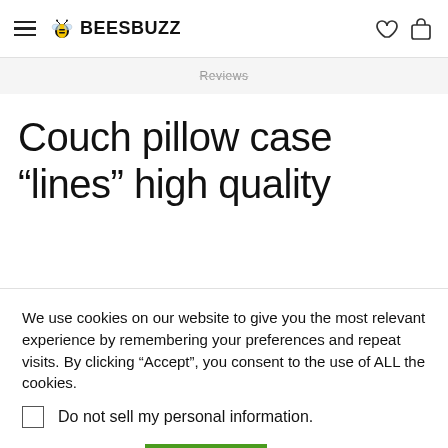BEESBUZZ
Reviews
Couch pillow case “lines” high quality
We use cookies on our website to give you the most relevant experience by remembering your preferences and repeat visits. By clicking “Accept”, you consent to the use of ALL the cookies.
Do not sell my personal information.
Cookie settings
ACCEPT